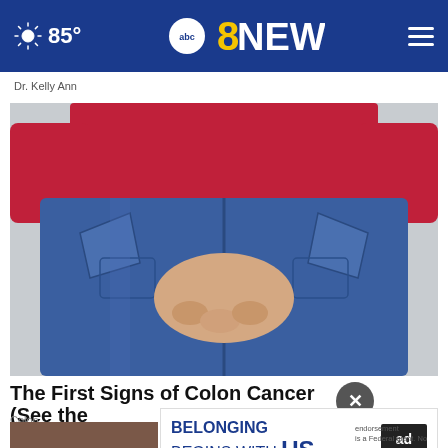85° | abc8NEWS
Dr. Kelly Ann
[Figure (photo): Close-up rear view of a woman wearing a red top and blue Levi's jeans, with her hands clasped behind her back near her lower torso.]
The First Signs of Colon Cancer (See the
Colon
[Figure (other): Ad banner: BELONGING BEGINS WITH US — Ad Council advertisement]